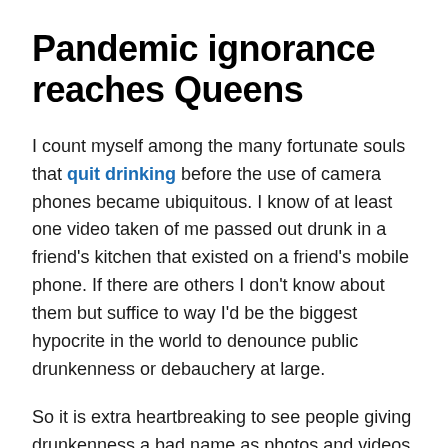Pandemic ignorance reaches Queens
I count myself among the many fortunate souls that quit drinking before the use of camera phones became ubiquitous. I know of at least one video taken of me passed out drunk in a friend’s kitchen that existed on a friend’s mobile phone. If there are others I don’t know about them but suffice to way I’d be the biggest hypocrite in the world to denounce public drunkenness or debauchery at large.
So it is extra heartbreaking to see people giving drunkenness a bad name as photos and videos surfaced of mask-less partiers crowding Steinway Street in Astoria, Queens like it was a Hellenic Bourbon Street. That